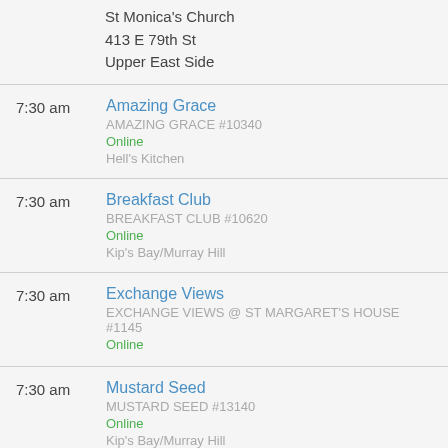St Monica's Church
413 E 79th St
Upper East Side
7:30 am | Amazing Grace | AMAZING GRACE #10340 | Online | Hell's Kitchen
7:30 am | Breakfast Club | BREAKFAST CLUB #10620 | Online | Kip's Bay/Murray Hill
7:30 am | Exchange Views | EXCHANGE VIEWS @ ST MARGARET'S HOUSE #1145 | Online
7:30 am | Mustard Seed | MUSTARD SEED #13140 | Online | Kip's Bay/Murray Hill